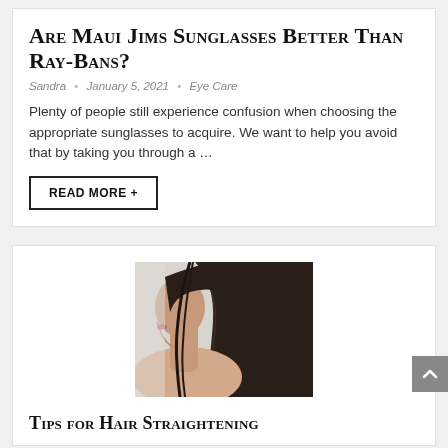Are Maui Jims Sunglasses Better Than Ray-Bans?
Sandra • January 5, 2021 • Eye Care
Plenty of people still experience confusion when choosing the appropriate sunglasses to acquire. We want to help you avoid that by taking you through a ...
READ MORE +
[Figure (photo): Side profile of a woman with long straight dark brown hair, bare shoulders, light background]
Tips for Hair Straightening